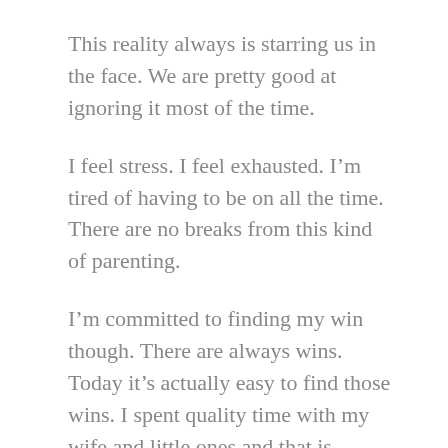This reality always is starring us in the face. We are pretty good at ignoring it most of the time.
I feel stress. I feel exhausted. I'm tired of having to be on all the time. There are no breaks from this kind of parenting.
I'm committed to finding my win though. There are always wins. Today it's actually easy to find those wins. I spent quality time with my wife and little ones and that is always amazing. I put my 3-year-old to bed tonight, which was such a sweet experience. I will miss them when I get older. I chose to get a little cardio in as well, which is always something good for me mentally.
As I type, my wife is snuggled up to me on the couch